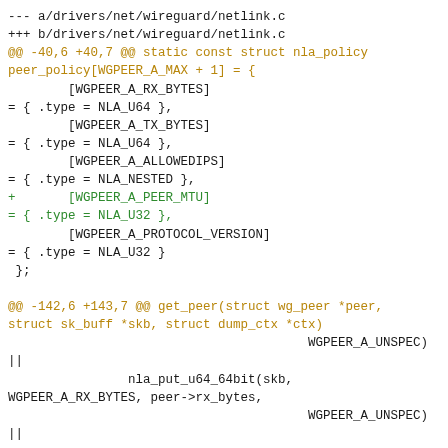[Figure (screenshot): A unified diff / patch view of drivers/net/wireguard/netlink.c showing additions of WGPEER_A_PEER_MTU policy entry and nla_put_u32 call, with file headers in monospace, hunk headers in gold/orange, unchanged lines in dark, and added lines (+) in green.]